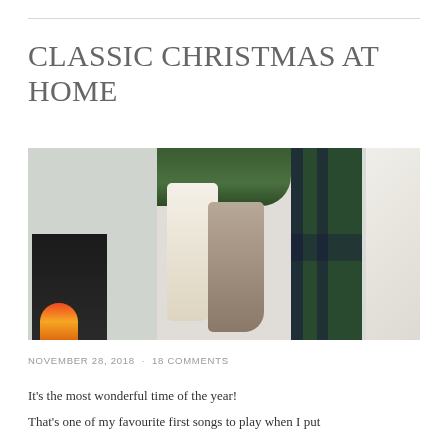CLASSIC CHRISTMAS AT HOME
[Figure (photo): Christmas home decor photo showing fireplace with stockings hanging from a garland-decorated mantel, plaid blanket and knit throws on the right side]
NOVEMBER 28, 2018  ·  18 COMMENTS
It's the most wonderful time of the year!
That's one of my favourite first songs to play when I put